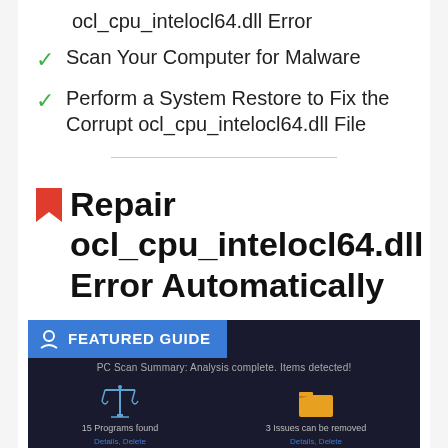ocl_cpu_intelocl64.dll Error
Scan Your Computer for Malware
Perform a System Restore to Fix the Corrupt ocl_cpu_intelocl64.dll File
Repair ocl_cpu_intelocl64.dll Error Automatically
[Figure (screenshot): Featured Guide banner showing a PC scan summary screen with a dark background, displaying '15 Programs found' with a scales icon and '3 Issues can be removed' with a folder icon.]